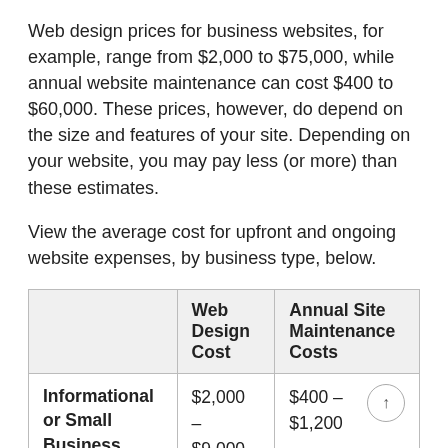Web design prices for business websites, for example, range from $2,000 to $75,000, while annual website maintenance can cost $400 to $60,000. These prices, however, do depend on the size and features of your site. Depending on your website, you may pay less (or more) than these estimates.
View the average cost for upfront and ongoing website expenses, by business type, below.
|  | Web Design Cost | Annual Site Maintenance Costs |
| --- | --- | --- |
| Informational or Small Business Website | $2,000 –
$9,000 | $400 – $1,200 |